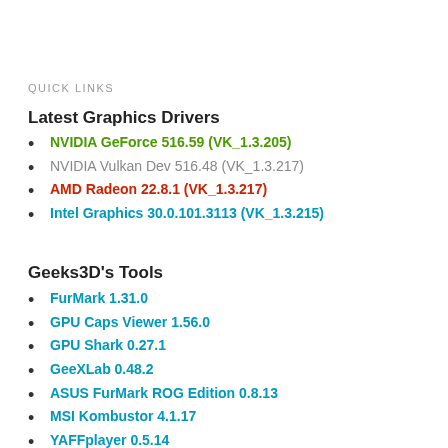QUICK LINKS
Latest Graphics Drivers
NVIDIA GeForce 516.59 (VK_1.3.205)
NVIDIA Vulkan Dev 516.48 (VK_1.3.217)
AMD Radeon 22.8.1 (VK_1.3.217)
Intel Graphics 30.0.101.3113 (VK_1.3.215)
Geeks3D's Tools
FurMark 1.31.0
GPU Caps Viewer 1.56.0
GPU Shark 0.27.1
GeeXLab 0.48.2
ASUS FurMark ROG Edition 0.8.13
MSI Kombustor 4.1.17
YAFFplayer 0.5.14
GL-Z 0.5.0
MadView3D 0.4.2